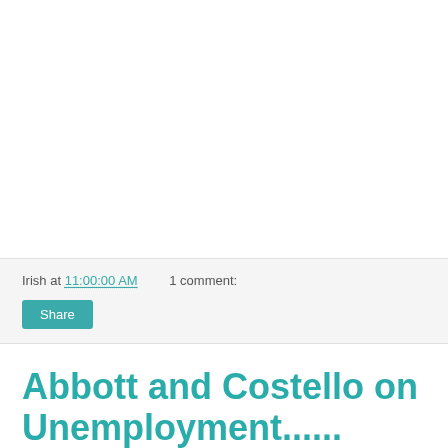Irish at 11:00:00 AM    1 comment:
Share
Abbott and Costello on Unemployment......